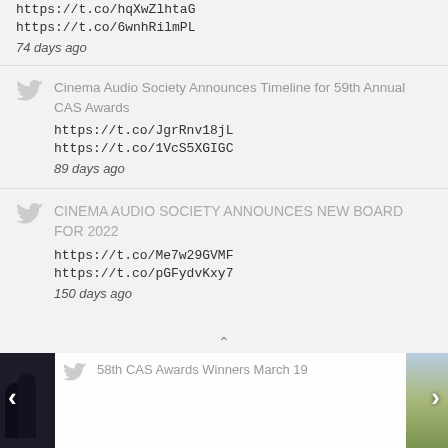https://t.co/hqXwZlhtaG
https://t.co/6wnhRilmPL
74 days ago
Cinema Audio Society Announces Timeline for 59th Annual CAS Awards
https://t.co/JgrRnv18jL
https://t.co/1VcS5XGIGC
89 days ago
CINEMA AUDIO SOCIETY ANNOUNCES NEW BOARD FOR 2022
https://t.co/Me7w29GVMF
https://t.co/pGFydvKxy7
150 days ago
58th CAS Awards Winners March 19
[Figure (photo): Left side: dark background photo of people in formal wear. Right side: partial outdoor/landscape photo.]